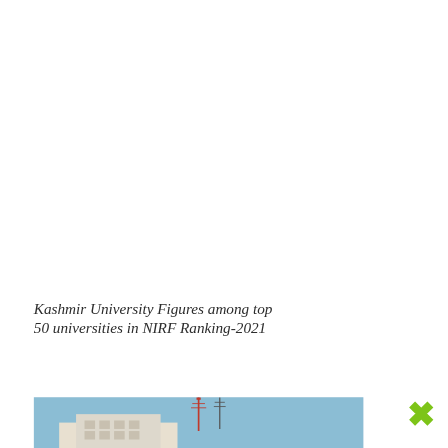Kashmir University Figures among top 50 universities in NIRF Ranking-2021
[Figure (photo): Partial view of a building with communication towers against a blue sky — likely Kashmir University campus]